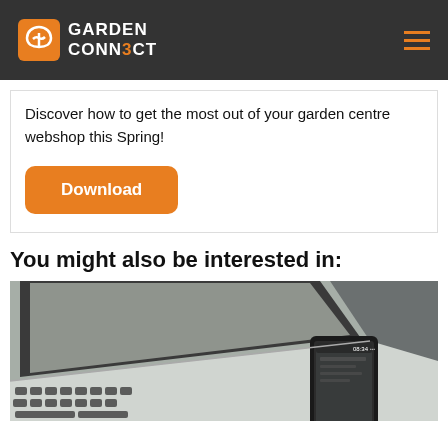GARDEN CONNECT
Discover how to get the most out of your garden centre webshop this Spring!
Download
You might also be interested in:
[Figure (photo): Laptop keyboard and smartphone placed next to each other on a desk, viewed from above at an angle]